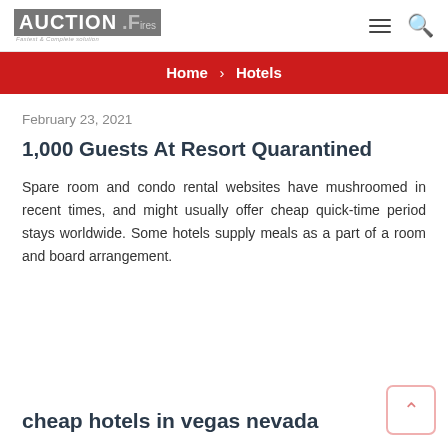AUCTION F... [logo] ≡ 🔍
Home › Hotels
February 23, 2021
1,000 Guests At Resort Quarantined
Spare room and condo rental websites have mushroomed in recent times, and might usually offer cheap quick-time period stays worldwide. Some hotels supply meals as a part of a room and board arrangement.
cheap hotels in vegas nevada